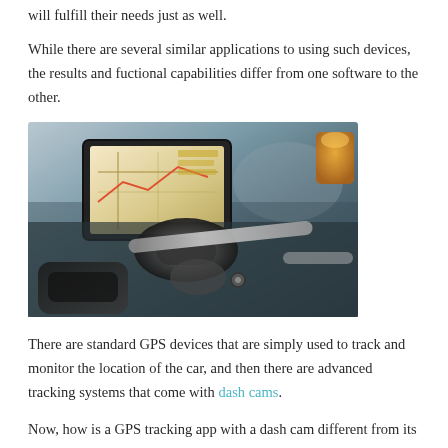will fulfill their needs just as well.
While there are several similar applications to using such devices, the results and fuctional capabilities differ from one software to the other.
[Figure (photo): A GPS navigation device mounted on a motorcycle handlebar, showing a map on its screen. Black gloves visible, orange object in background top right.]
There are standard GPS devices that are simply used to track and monitor the location of the car, and then there are advanced tracking systems that come with dash cams.
Now, how is a GPS tracking app with a dash cam different from its alternatives?
In the below, we examine the well-acknowledged benefits of having a...